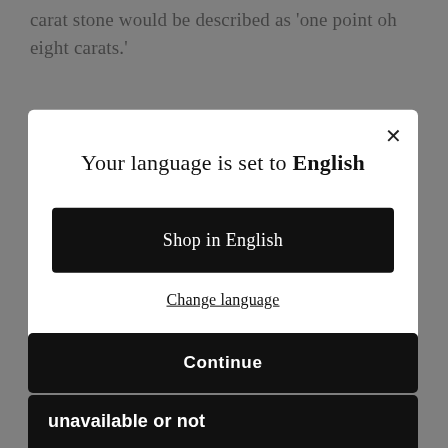carat stone would be described as 'one point oh eight carats.'
All else being equal, diamond price increases with
[Figure (screenshot): Modal dialog overlay on a website reading 'Your language is set to English' with a 'Shop in English' black button and a 'Change language' underlined link, plus a close (X) button in the top right corner.]
Continue
unavailable or not